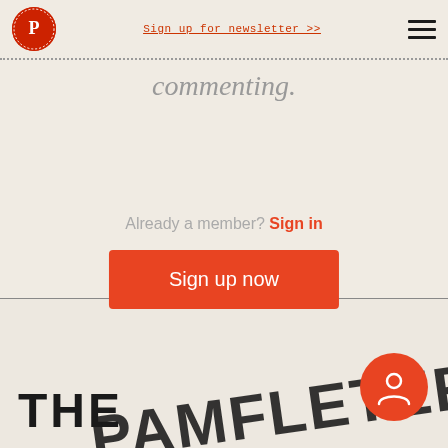Sign up for newsletter >>
commenting.
Sign up now
Already a member? Sign in
[Figure (logo): THE PAMPHLETEER logo text partially visible at bottom of page]
[Figure (illustration): Red circular user/account icon button in bottom right]